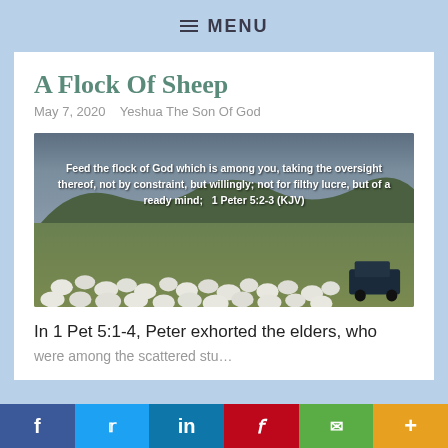≡ MENU
A Flock Of Sheep
May 7, 2020   Yeshua The Son Of God
[Figure (photo): A large flock of white sheep in a green valley with dramatic cloudy sky and hills in the background. A dark 4x4 vehicle is visible on the right. Text overlay reads: Feed the flock of God which is among you, taking the oversight thereof, not by constraint, but willingly; not for filthy lucre, but of a ready mind;   1 Peter 5:2-3 (KJV)]
In 1 Pet 5:1-4, Peter exhorted the elders, who were among the scattered stu…